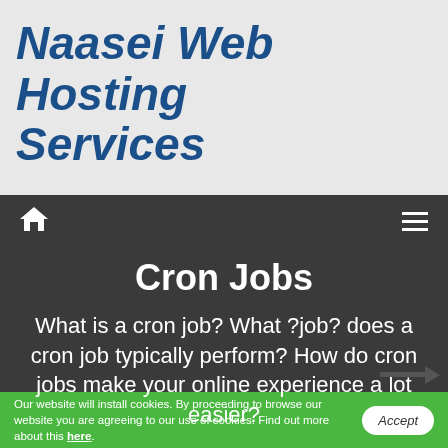Naasei Web Hosting Services
Home | Menu
Cron Jobs
What is a cron job? What ?job? does a cron job typically perform? How do cron jobs make your online experience a lot easier?
Our website will install cookies. By proceeding to browse our website you are agreeing to our use of cookies. Find out more about this here.